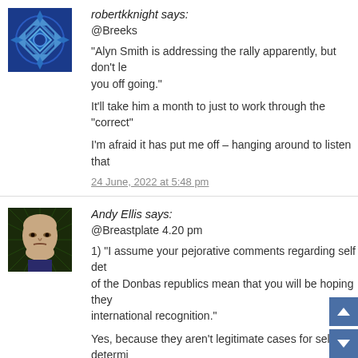robertkknight says:
@Breeks
“Alyn Smith is addressing the rally apparently, but don’t let that put you off going.”
It’ll take him a month to just to work through the “correct”
I’m afraid it has put me off – hanging around to listen that
24 June, 2022 at 5:48 pm
Andy Ellis says:
@Breastplate 4.20 pm
1) “I assume your pejorative comments regarding self det of the Donbas republics mean that you will be hoping they international recognition.”
Yes, because they aren’t legitimate cases for self determi Nobody other than Vlad and a few chosen mates will eve them, much like nobody but Turkey recognises the Turkis of Northern Cyprus. Of course much like the pretendy ref Crimea, nobody with two brain cells actually belie People’s Republics are legitimate: as soon as the